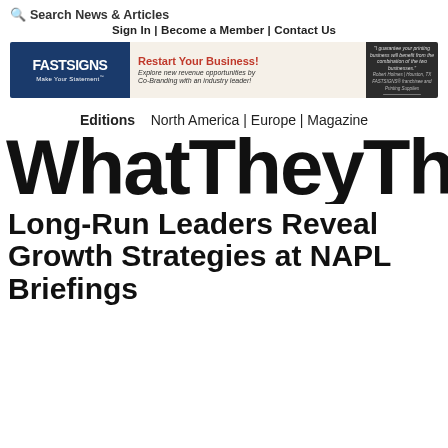🔍 Search News & Articles
Sign In | Become a Member | Contact Us
[Figure (illustration): FASTSIGNS advertisement banner: blue logo on left reads FASTSIGNS Make Your Statement, red headline reads Restart Your Business! Explore new revenue opportunities by Co-Branding with an industry leader!, dark panel on right with quote and person photo]
Editions   North America | Europe | Magazine
[Figure (logo): WhatTheyThink logo in large bold black text with red exclamation mark replacing the 'i' in 'Think']
Long-Run Leaders Reveal Growth Strategies at NAPL Briefings